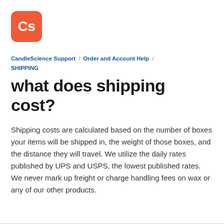[Figure (logo): CandleScience logo: orange rounded square with white 'Cs' text]
CandleScience Support / Order and Account Help / SHIPPING
what does shipping cost?
Shipping costs are calculated based on the number of boxes your items will be shipped in, the weight of those boxes, and the distance they will travel. We utilize the daily rates published by UPS and USPS, the lowest published rates. We never mark up freight or charge handling fees on wax or any of our other products.